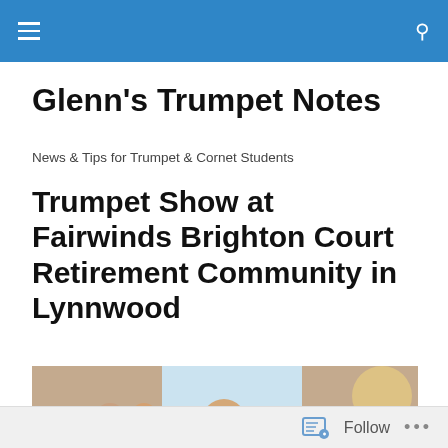Glenn's Trumpet Notes — navigation bar
Glenn's Trumpet Notes
News & Tips for Trumpet & Cornet Students
Trumpet Show at Fairwinds Brighton Court Retirement Community in Lynnwood
[Figure (photo): Indoor scene of elderly residents seated in a warm living room setting, attending a trumpet performance. Large windows in the background let in natural light.]
Follow  ...